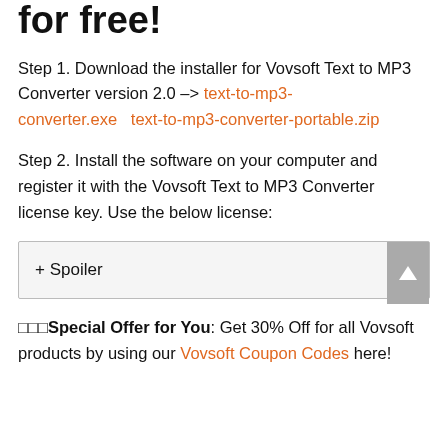for free!
Step 1. Download the installer for Vovsoft Text to MP3 Converter version 2.0 -> text-to-mp3-converter.exe   text-to-mp3-converter-portable.zip
Step 2. Install the software on your computer and register it with the Vovsoft Text to MP3 Converter license key. Use the below license:
+ Spoiler
🔲🔲🔲Special Offer for You: Get 30% Off for all Vovsoft products by using our Vovsoft Coupon Codes here!